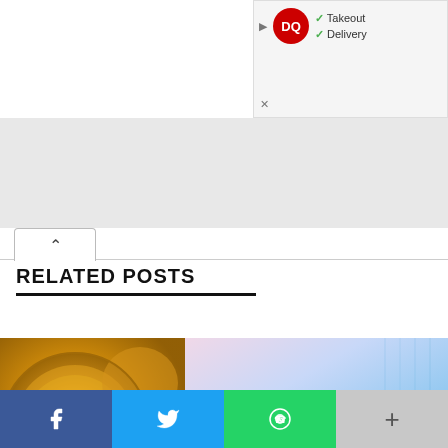[Figure (screenshot): Dairy Queen advertisement banner with DQ logo, checkmarks for Takeout and Delivery options]
[Figure (screenshot): Up arrow toggle button for related posts section]
RELATED POSTS
[Figure (photo): Close-up photo of gold Bitcoin coins]
[Figure (photo): FTX cryptocurrency exchange logo overlaid on image of person holding a card/wallet with digital background]
[Figure (infographic): Social media share buttons row: Facebook, Twitter, WhatsApp, More (+)]